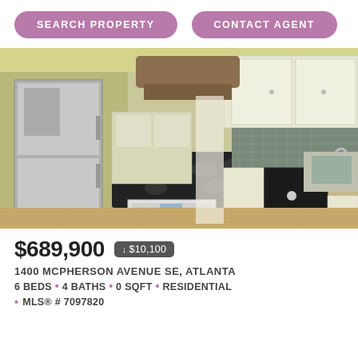SEARCH PROPERTY
CONTACT AGENT
[Figure (photo): Kitchen interior with stainless steel refrigerator, black gas cooktop island, white cabinetry, tile backsplash, and hardwood floors.]
$689,900 ↓ $10,100
1400 MCPHERSON AVENUE SE, ATLANTA
6 BEDS • 4 BATHS • 0 SQFT • RESIDENTIAL
MLS® # 7097820